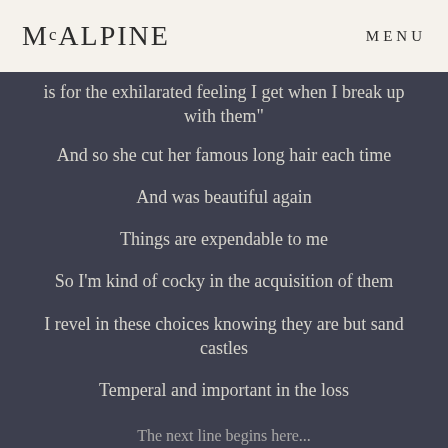MCALPINE   MENU
is for the exhilarated feeling I get when I break up with them"
And so she cut her famous long hair each time
And was beautiful again
Things are expendable to me
So I'm kind of cocky in the acquisition of them
I revel in these choices knowing they are but sand castles
Temperal and important in the loss
The next line begins here...